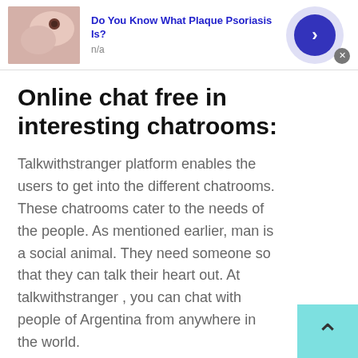[Figure (screenshot): Advertisement banner at top: skin image thumbnail on left, 'Do You Know What Plaque Psoriasis Is?' in blue bold text, 'n/a' below, blue circular arrow button on right, gray X close button]
Online chat free in interesting chatrooms:
Talkwithstranger platform enables the users to get into the different chatrooms. These chatrooms cater to the needs of the people. As mentioned earlier, man is a social animal. They need someone so that they can talk their heart out. At talkwithstranger , you can chat with people of Argentina from anywhere in the world.
[Figure (screenshot): Advertisement banner at bottom: skin image thumbnail on left, 'Do You Know What Plaque Psoriasis Is?' in blue bold text, 'n/a' below, blue circular arrow button on right, gray X close button at top-right]